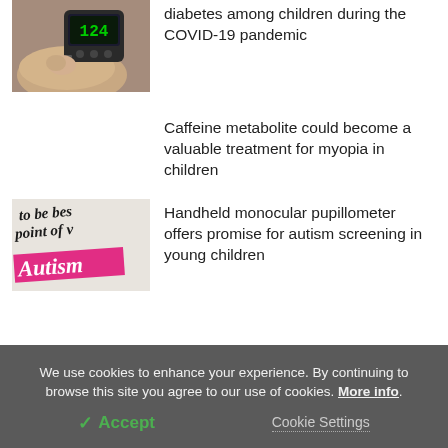[Figure (photo): Hand holding a glucose meter device]
diabetes among children during the COVID-19 pandemic
Caffeine metabolite could become a valuable treatment for myopia in children
[Figure (photo): Printed text with 'Autism' highlighted in pink, saying 'to be best point of']
Handheld monocular pupillometer offers promise for autism screening in young children
We use cookies to enhance your experience. By continuing to browse this site you agree to our use of cookies. More info.
✓ Accept
Cookie Settings